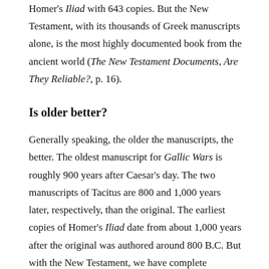Homer's Iliad with 643 copies. But the New Testament, with its thousands of Greek manuscripts alone, is the most highly documented book from the ancient world (The New Testament Documents, Are They Reliable?, p. 16).
Is older better?
Generally speaking, the older the manuscripts, the better. The oldest manuscript for Gallic Wars is roughly 900 years after Caesar's day. The two manuscripts of Tacitus are 800 and 1,000 years later, respectively, than the original. The earliest copies of Homer's Iliad date from about 1,000 years after the original was authored around 800 B.C. But with the New Testament, we have complete manuscripts from